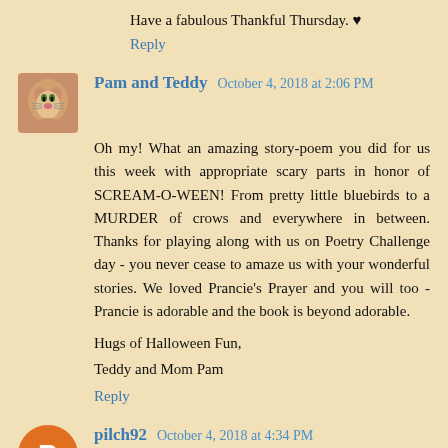Have a fabulous Thankful Thursday. ♥
Reply
Pam and Teddy  October 4, 2018 at 2:06 PM
Oh my! What an amazing story-poem you did for us this week with appropriate scary parts in honor of SCREAM-O-WEEN! From pretty little bluebirds to a MURDER of crows and everywhere in between. Thanks for playing along with us on Poetry Challenge day - you never cease to amaze us with your wonderful stories. We loved Prancie's Prayer and you will too - Prancie is adorable and the book is beyond adorable.
Hugs of Halloween Fun,
Teddy and Mom Pam
Reply
pilch92  October 4, 2018 at 4:34 PM
Your creativity amazes me. That poem was fantastic! And I love the drawing too. Thimble is such a cutie. I like your Halloween